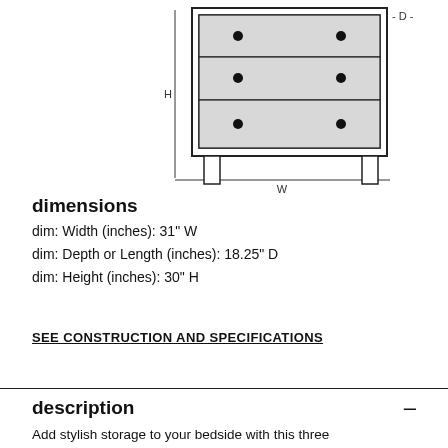[Figure (engineering-diagram): Front-view line drawing of a 3-drawer dresser with two round knobs per drawer, legs at the bottom, annotated with H (height) on the left side and W (width) along the bottom, and D (depth) indicated at top right.]
dimensions
dim: Width (inches): 31" W
dim: Depth or Length (inches): 18.25" D
dim: Height (inches): 30" H
SEE CONSTRUCTION AND SPECIFICATIONS
description
Add stylish storage to your bedside with this three